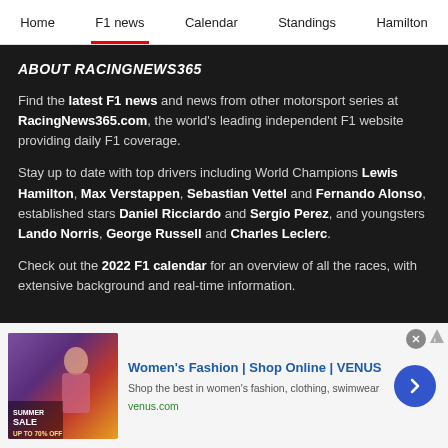Home | F1 news | Calendar | Standings | Hamilton
ABOUT RACINGNEWS365
Find the latest F1 news and news from other motorsport series at RacingNews365.com, the world's leading independent F1 website providing daily F1 coverage.
Stay up to date with top drivers including World Champions Lewis Hamilton, Max Verstappen, Sebastian Vettel and Fernando Alonso, established stars Daniel Ricciardo and Sergio Perez, and youngsters Lando Norris, George Russell and Charles Leclerc.
Check out the 2022 F1 calendar for an overview of all the races, with extensive background and real-time information.
[Figure (infographic): Advertisement banner for Women's Fashion at VENUS online shop, showing a Summer Sale promotional image with a model, ad title 'Women's Fashion | Shop Online | VENUS', description 'Shop the best in women's fashion, clothing, swimwear', and URL venus.com]